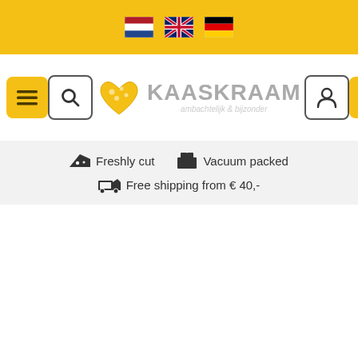[Figure (screenshot): Top yellow bar with Dutch, English, and German flag icons for language selection]
[Figure (logo): Kaaskraam logo with cheese heart icon, brand name KAASKRAAM and tagline ambachtelijk & bijzonder, with navigation buttons (hamburger menu, search, user, shopping basket)]
Freshly cut   Vacuum packed   Free shipping from € 40,-